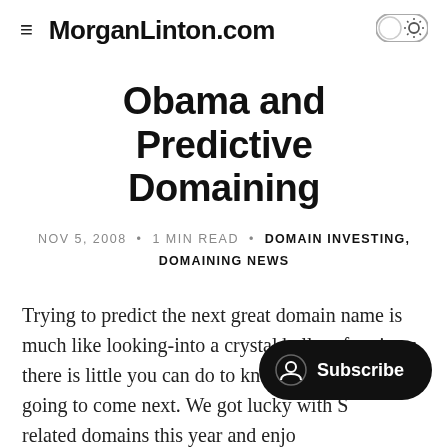≡ MorganLinton.com
Obama and Predictive Domaining
NOV 5, 2008 • 1 MIN READ • DOMAIN INVESTING, DOMAINING NEWS
Trying to predict the next great domain name is much like looking-into a crystal ball – oftentimes there is little you can do to know what trend is going to come next. We got lucky with S related domains this year and enjoying some nice growth with domains like BailoutBill.us.